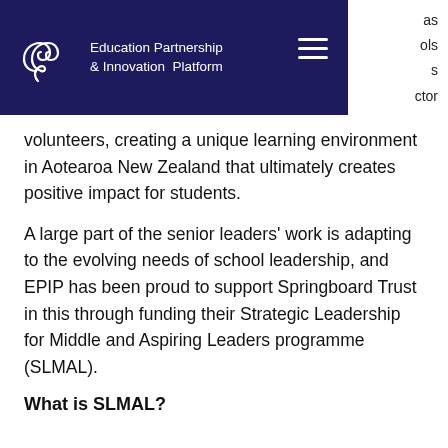Education Partnership & Innovation Platform
volunteers, creating a unique learning environment in Aotearoa New Zealand that ultimately creates positive impact for students.
A large part of the senior leaders' work is adapting to the evolving needs of school leadership, and EPIP has been proud to support Springboard Trust in this through funding their Strategic Leadership for Middle and Aspiring Leaders programme (SLMAL).
What is SLMAL?